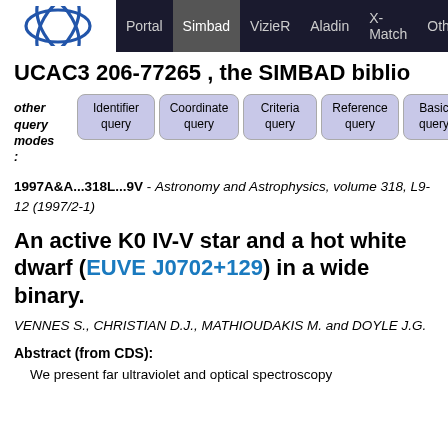Portal | Simbad | VizieR | Aladin | X-Match | Other
UCAC3 206-77265 , the SIMBAD biblio
other query modes :   Identifier query | Coordinate query | Criteria query | Reference query | Basic query
1997A&A...318L...9V - Astronomy and Astrophysics, volume 318, L9-12 (1997/2-1)
An active K0 IV-V star and a hot white dwarf (EUVE J0702+129) in a wide binary.
VENNES S., CHRISTIAN D.J., MATHIOUDAKIS M. and DOYLE J.G.
Abstract (from CDS):
We present far ultraviolet and optical spectroscopy